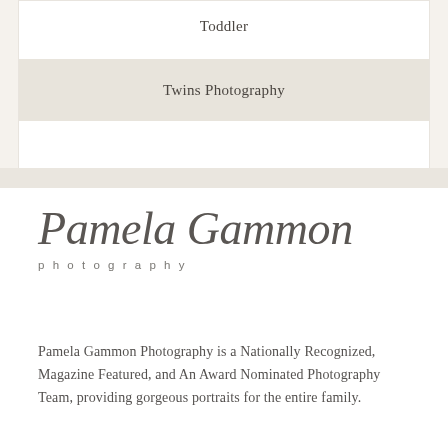Toddler
Twins Photography
[Figure (logo): Pamela Gammon photography script logo with cursive name and spaced lowercase subtitle]
Pamela Gammon Photography is a Nationally Recognized, Magazine Featured, and An Award Nominated Photography Team, providing gorgeous portraits for the entire family.